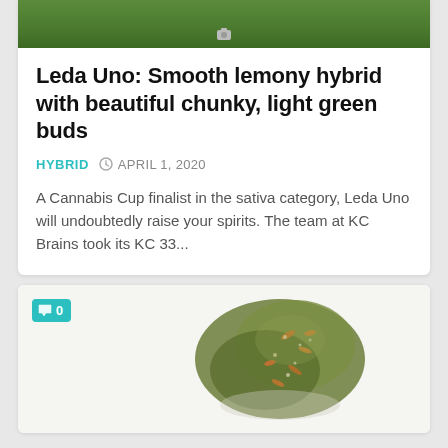[Figure (photo): Top portion of cannabis plant with green leaves and buds, cropped]
Leda Uno: Smooth lemony hybrid with beautiful chunky, light green buds
HYBRID   APRIL 1, 2020
A Cannabis Cup finalist in the sativa category, Leda Uno will undoubtedly raise your spirits. The team at KC Brains took its KC 33...
[Figure (photo): Close-up photo of cannabis bud on white background, with comment badge showing 0 comments]